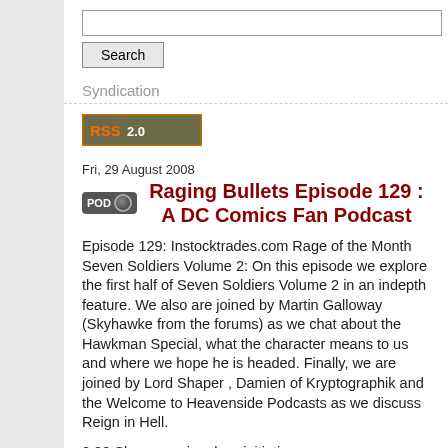Syndication
[Figure (logo): RSS 2.0 badge/button]
Fri, 29 August 2008
Raging Bullets Episode 129 : A DC Comics Fan Podcast
Episode 129: Instocktrades.com Rage of the Month Seven Soldiers Volume 2: On this episode we explore the first half of Seven Soldiers Volume 2 in an indepth feature. We also are joined by Martin Galloway (Skyhawke from the forums) as we chat about the Hawkman Special, what the character means to us and where we hope he is headed. Finally, we are joined by Lord Shaper , Damien of Kryptographik and the Welcome to Heavenside Podcasts as we discuss Reign in Hell.
0:00 Show opening, heroinitiative.org,  DCBService.com, Instocktrades.com, Comics Now Magazine #3, our ongoing contest (Ragingcontest@gmail.com), comicbookdb.com,